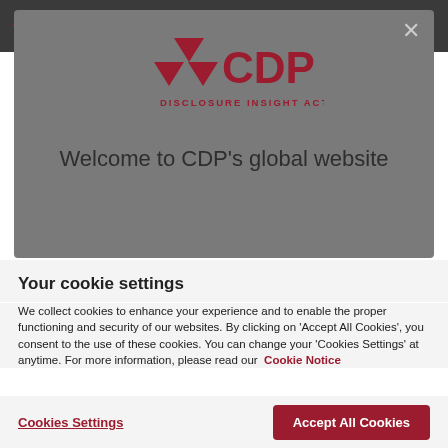[Figure (screenshot): CDP website navigation bar with CDP logo (dark background), search icon, user/account icon, Sign in text, and hamburger menu icon on the right]
[Figure (screenshot): Modal dialog on CDP website showing CDP logo with triangular arrows and text 'DISCLOSURE INSIGHT ACTION' above heading 'Welcome to CDP's global website']
Your cookie settings
We collect cookies to enhance your experience and to enable the proper functioning and security of our websites. By clicking on 'Accept All Cookies', you consent to the use of these cookies. You can change your 'Cookies Settings' at anytime. For more information, please read our Cookie Notice
Cookies Settings
Accept All Cookies